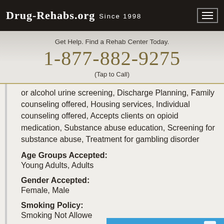Drug-Rehabs.org Since 1998
Get Help. Find a Rehab Center Today.
1-877-882-9275
(Tap to Call)
or alcohol urine screening, Discharge Planning, Family counseling offered, Housing services, Individual counseling offered, Accepts clients on opioid medication, Substance abuse education, Screening for substance abuse, Treatment for gambling disorder
Age Groups Accepted:
Young Adults, Adults
Gender Accepted:
Female, Male
Smoking Policy:
Smoking Not Allowed
Facility Operation:
Chat now